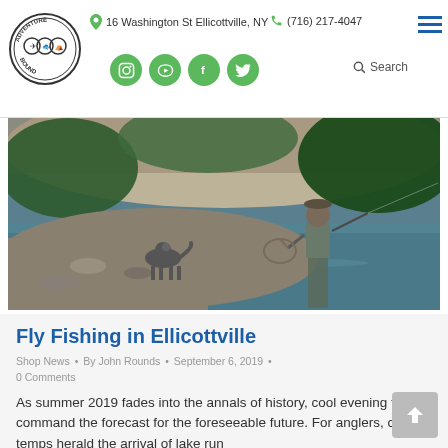16 Washington St Ellicottville, NY  •  (716) 217-4047
[Figure (photo): A fly fisherman wading in a river with a dog on the rocky bank, surrounded by trees and a limestone cliff in the background.]
Fly Fishing in Ellicottville
Shop News • By John Rounds • September 6, 2019 • 0 Comments
As summer 2019 fades into the annals of history, cool evening temps command the forecast for the foreseeable future. For anglers, cooler temps herald the arrival of lake run